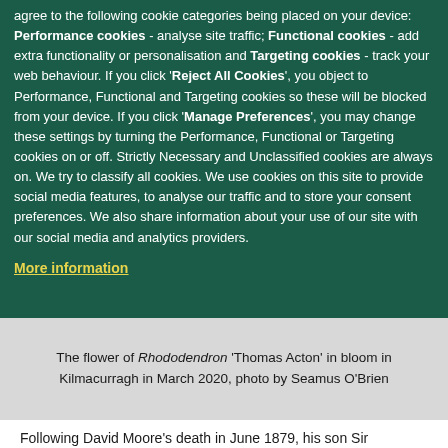If you click 'Accept All Cookies' on this website, you agree to the following cookie categories being placed on your device: Performance cookies - analyse site traffic; Functional cookies - add extra functionality or personalisation and Targeting cookies - track your web behaviour. If you click 'Reject All Cookies', you object to Performance, Functional and Targeting cookies so these will be blocked from your device. If you click 'Manage Preferences', you may change these settings by turning the Performance, Functional or Targeting cookies on or off. Strictly Necessary and Unclassified cookies are always on. We try to classify all cookies. We use cookies on this site to provide social media features, to analyse our traffic and to store your consent preferences. We also share information about your use of our site with our social media and analytics providers.
More information
The flower of Rhododendron 'Thomas Acton' in bloom in Kilmacurragh in March 2020, photo by Seamus O'Brien
Following David Moore's death in June 1879, his son Sir